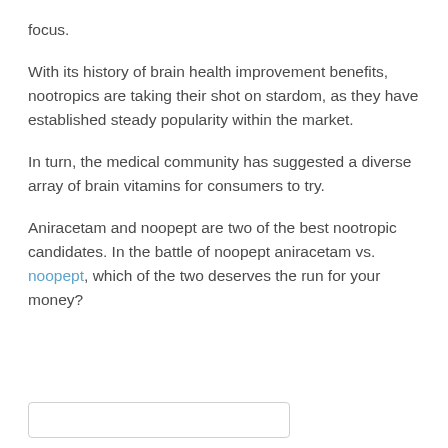focus.
With its history of brain health improvement benefits, nootropics are taking their shot on stardom, as they have established steady popularity within the market.
In turn, the medical community has suggested a diverse array of brain vitamins for consumers to try.
Aniracetam and noopept are two of the best nootropic candidates. In the battle of noopept aniracetam vs. noopept, which of the two deserves the run for your money?
[Figure (other): Empty white box with light border at bottom of page]